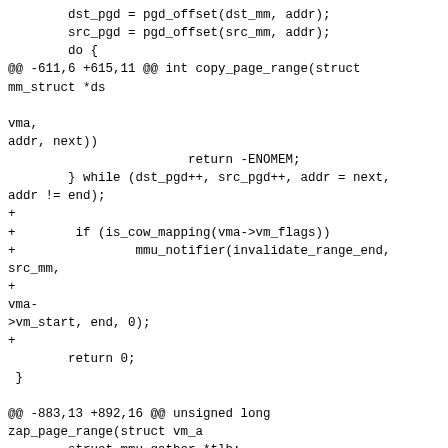dst_pgd = pgd_offset(dst_mm, addr);
        src_pgd = pgd_offset(src_mm, addr);
        do {
@@ -611,6 +615,11 @@ int copy_page_range(struct mm_struct *ds

                                                            vma,
addr, next))
                        return -ENOMEM;
        } while (dst_pgd++, src_pgd++, addr = next,
addr != end);
+
+        if (is_cow_mapping(vma->vm_flags))
+                mmu_notifier(invalidate_range_end,
src_mm,
+                                                           vma-
>vm_start, end, 0);
+
        return 0;
 }

@@ -883,13 +892,16 @@ unsigned long
zap_page_range(struct vm_a
        struct mmu_gather *tlb;
        unsigned long end = address + size;
        unsigned long nr_accounted = 0;
+        int atomic = details ? (details->i_mmap_lock !=
0) : 0;

        lru_add_drain();
        tlb = tlb_gather_mmu(mm, 0);